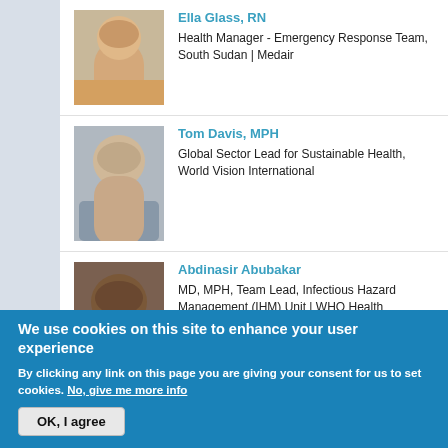[Figure (photo): Headshot photo of Ella Glass, RN, a young woman]
Ella Glass, RN
Health Manager - Emergency Response Team, South Sudan | Medair
[Figure (photo): Headshot photo of Tom Davis, MPH, a middle-aged man with gray hair and glasses]
Tom Davis, MPH
Global Sector Lead for Sustainable Health, World Vision International
[Figure (photo): Headshot photo of Abdinasir Abubakar, a man]
Abdinasir Abubakar
MD, MPH, Team Lead, Infectious Hazard Management (IHM) Unit | WHO Health Emergencies Department (WHE), World Health Organization, Regional Office for Eastern Mediterranean
We use cookies on this site to enhance your user experience
By clicking any link on this page you are giving your consent for us to set cookies. No, give me more info
OK, I agree